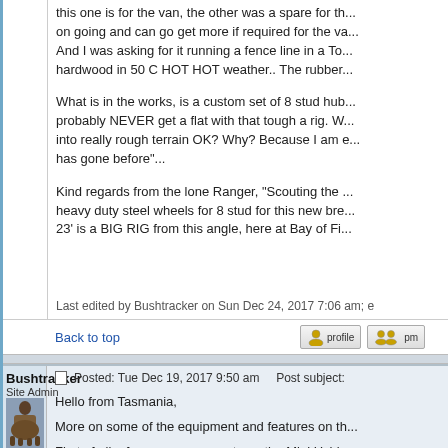this one is for the van, the other was a spare for th... on going and can go get more if required for the va... And I was asking for it running a fence line in a To... hardwood in 50 C HOT HOT weather.. The rubber...
What is in the works, is a custom set of 8 stud hub... probably NEVER get a flat with that tough a rig. W... into really rough terrain OK? Why? Because I am e... has gone before"...
Kind regards from the lone Ranger, "Scouting the ... heavy duty steel wheels for 8 stud for this new bre... 23' is a BIG RIG from this angle, here at Bay of Fi...
Last edited by Bushtracker on Sun Dec 24, 2017 7:06 am; e
Back to top
Posted: Tue Dec 19, 2017 9:50 am    Post subject:
Bushtracker
Site Admin
Hello from Tasmania,
More on some of the equipment and features on th...
First of all a few more comments on the Mini Ushi...